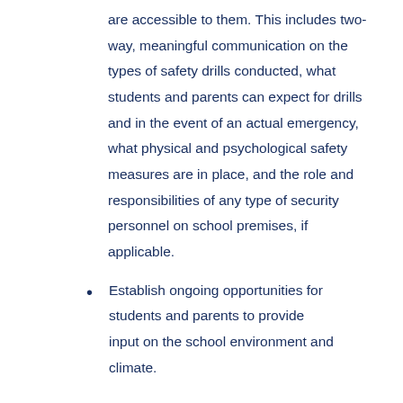are accessible to them. This includes two-way, meaningful communication on the types of safety drills conducted, what students and parents can expect for drills and in the event of an actual emergency, what physical and psychological safety measures are in place, and the role and responsibilities of any type of security personnel on school premises, if applicable.
Establish ongoing opportunities for students and parents to provide input on the school environment and climate.
School climate and student support services